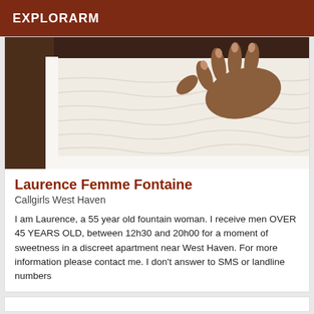EXPLORARM
[Figure (photo): A hand pressing down on a white textured mattress surface, viewed from above. Dark background at top.]
Laurence Femme Fontaine
Callgirls West Haven
I am Laurence, a 55 year old fountain woman. I receive men OVER 45 YEARS OLD, between 12h30 and 20h00 for a moment of sweetness in a discreet apartment near West Haven. For more information please contact me. I don't answer to SMS or landline numbers